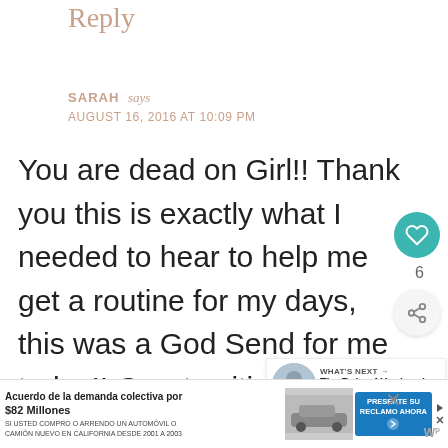Reply
SARAH says
AUGUST 16, 2016 AT 10:09 PM
You are dead on Girl!! Thank you this is exactly what I needed to hear to help me get a routine for my days, this was a God Send for me today!! Great writing by the way too 😊 You've found your calling!
[Figure (infographic): Advertisement banner: Acuerdo de la demanda colectiva por $82 Millones. SI USTED COMPRO O ARRENDO UN AUTOMOVIL O CAMION NUEVO EN CALIFORNIA DESDE 2001 A 2003. PRESENTE SU RECLAMO AHORA button. Car image on the right side of the ad text.]